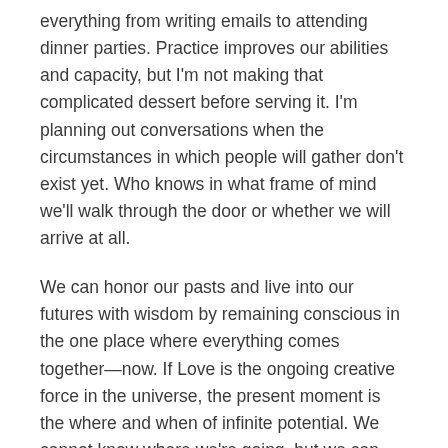everything from writing emails to attending dinner parties. Practice improves our abilities and capacity, but I'm not making that complicated dessert before serving it. I'm planning out conversations when the circumstances in which people will gather don't exist yet. Who knows in what frame of mind we'll walk through the door or whether we will arrive at all.
We can honor our pasts and live into our futures with wisdom by remaining conscious in the one place where everything comes together—now. If Love is the ongoing creative force in the universe, the present moment is the where and when of infinite potential. We cannot know where we're going, but we can participate in where we are, in the creative force loving us all into existence.